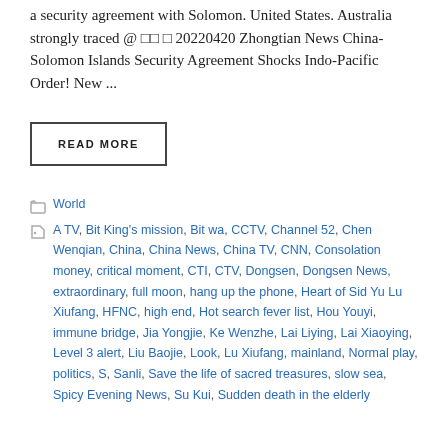a security agreement with Solomon. United States. Australia strongly traced @ 00 0 20220420 Zhongtian News China-Solomon Islands Security Agreement Shocks Indo-Pacific Order! New ...
READ MORE
World
A TV, Bit King's mission, Bit wa, CCTV, Channel 52, Chen Wenqian, China, China News, China TV, CNN, Consolation money, critical moment, CTI, CTV, Dongsen, Dongsen News, extraordinary, full moon, hang up the phone, Heart of Sid Yu Lu Xiufang, HFNC, high end, Hot search fever list, Hou Youyi, immune bridge, Jia Yongjie, Ke Wenzhe, Lai Liying, Lai Xiaoying, Level 3 alert, Liu Baojie, Look, Lu Xiufang, mainland, Normal play, politics, S, Sanli, Save the life of sacred treasures, slow sea, Spicy Evening News, Su Kui, Sudden death in the elderly